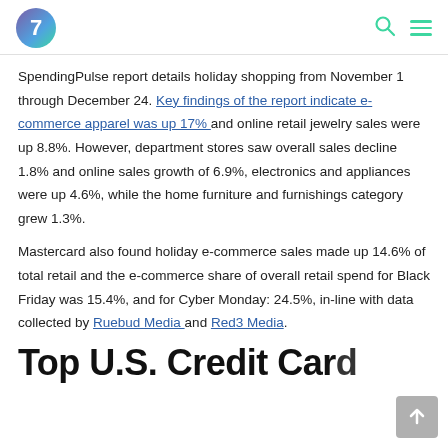7
SpendingPulse report details holiday shopping from November 1 through December 24. Key findings of the report indicate e-commerce apparel was up 17% and online retail jewelry sales were up 8.8%. However, department stores saw overall sales decline 1.8% and online sales growth of 6.9%, electronics and appliances were up 4.6%, while the home furniture and furnishings category grew 1.3%.
Mastercard also found holiday e-commerce sales made up 14.6% of total retail and the e-commerce share of overall retail spend for Black Friday was 15.4%, and for Cyber Monday: 24.5%, in-line with data collected by Ruebud Media and Red3 Media.
Top U.S. Credit Card...